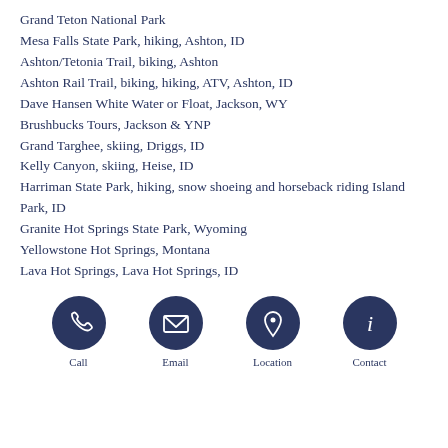Grand Teton National Park
Mesa Falls State Park, hiking, Ashton, ID
Ashton/Tetonia Trail, biking, Ashton
Ashton Rail Trail, biking, hiking, ATV, Ashton, ID
Dave Hansen White Water or Float, Jackson, WY
Brushbucks Tours, Jackson & YNP
Grand Targhee, skiing, Driggs, ID
Kelly Canyon, skiing, Heise, ID
Harriman State Park, hiking, snow shoeing and horseback riding Island Park, ID
Granite Hot Springs State Park, Wyoming
Yellowstone Hot Springs, Montana
Lava Hot Springs, Lava Hot Springs, ID
[Figure (infographic): Four circular dark navy icons in a row: phone/call icon, envelope/email icon, map pin/location icon, info/contact icon, each with a label below (Call, Email, Location, Contact)]